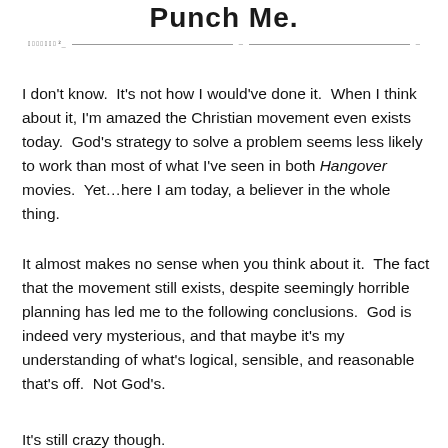Punch Me.
I don’t know.  It’s not how I would’ve done it.  When I think about it, I’m amazed the Christian movement even exists today.  God’s strategy to solve a problem seems less likely to work than most of what I’ve seen in both Hangover movies.  Yet…here I am today, a believer in the whole thing.
It almost makes no sense when you think about it.  The fact that the movement still exists, despite seemingly horrible planning has led me to the following conclusions.  God is indeed very mysterious, and that maybe it’s my understanding of what’s logical, sensible, and reasonable that’s off.  Not God’s.
It’s still crazy though.